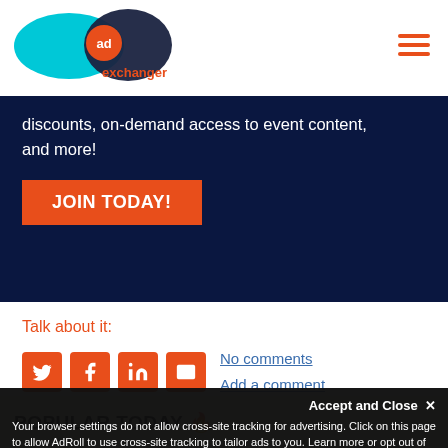AdExchanger logo and hamburger menu
discounts, on-demand access to event content, and more!
JOIN TODAY!
Talk about it:
No comments
Add a comment
POPULAR TODAY 🔥
Accept and Close ✕
Your browser settings do not allow cross-site tracking for advertising. Click on this page to allow AdRoll to use cross-site tracking to tailor ads to you. Learn more or opt out of this AdRoll tracking by clicking here. This message only appears once.